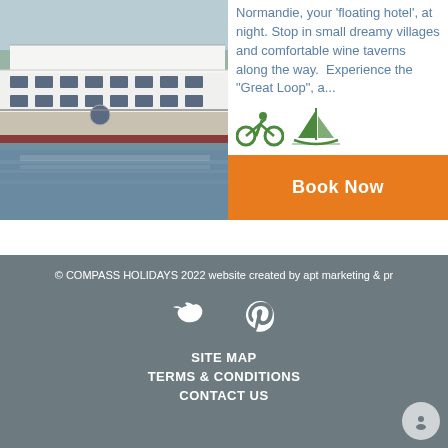[Figure (photo): A large white river cruise ship (Normandie) moored on a river, seen from the side. Multiple decks with windows and railings, reflected in the water.]
Normandie, your 'floating hotel', at night. Stop in small dreamy villages and comfortable wine taverns along the way.  Experience the "Great Loop", a...
[Figure (illustration): Two green icons: a cyclist icon and a sailboat icon.]
Book Now
© COMPASS HOLIDAYS 2022 website created by apt marketing & pr
SITE MAP
TERMS & CONDITIONS
CONTACT US